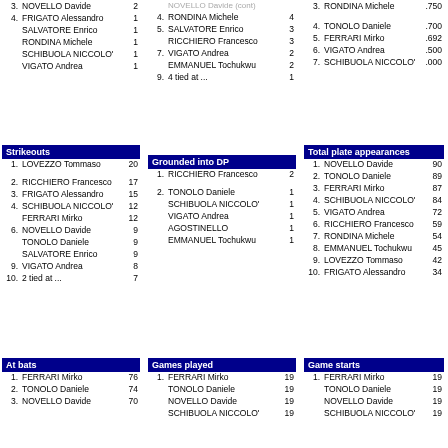| Rank | Name | Value |
| --- | --- | --- |
| 3. | NOVELLO Davide | 2 |
| 4. | FRIGATO Alessandro | 1 |
|  | SALVATORE Enrico | 1 |
|  | RONDINA Michele | 1 |
|  | SCHIBUOLA NICCOLO' | 1 |
|  | VIGATO Andrea | 1 |
| Rank | Name | Value |
| --- | --- | --- |
| 3. | NOVELLO Davide (cut off) |  |
| 4. | RONDINA Michele | 4 |
| 5. | SALVATORE Enrico | 3 |
|  | RICCHIERO Francesco | 3 |
| 7. | VIGATO Andrea | 2 |
|  | EMMANUEL Tochukwu | 2 |
| 9. | 4 tied at ... | 1 |
| Rank | Name | Value |
| --- | --- | --- |
| 3. | RONDINA Michele | .750 |
| 4. | TONOLO Daniele | .700 |
| 5. | FERRARI Mirko | .692 |
| 6. | VIGATO Andrea | .500 |
| 7. | SCHIBUOLA NICCOLO' | .000 |
Strikeouts
| Rank | Name | Value |
| --- | --- | --- |
| 1. | LOVEZZO Tommaso | 20 |
| 2. | RICCHIERO Francesco | 17 |
| 3. | FRIGATO Alessandro | 15 |
| 4. | SCHIBUOLA NICCOLO' | 12 |
|  | FERRARI Mirko | 12 |
| 6. | NOVELLO Davide | 9 |
|  | TONOLO Daniele | 9 |
|  | SALVATORE Enrico | 9 |
| 9. | VIGATO Andrea | 8 |
| 10. | 2 tied at ... | 7 |
Grounded into DP
| Rank | Name | Value |
| --- | --- | --- |
| 1. | RICCHIERO Francesco | 2 |
| 2. | TONOLO Daniele | 1 |
|  | SCHIBUOLA NICCOLO' | 1 |
|  | VIGATO Andrea | 1 |
|  | AGOSTINELLO | 1 |
|  | EMMANUEL Tochukwu | 1 |
Total plate appearances
| Rank | Name | Value |
| --- | --- | --- |
| 1. | NOVELLO Davide | 90 |
| 2. | TONOLO Daniele | 89 |
| 3. | FERRARI Mirko | 87 |
| 4. | SCHIBUOLA NICCOLO' | 84 |
| 5. | VIGATO Andrea | 72 |
| 6. | RICCHIERO Francesco | 59 |
| 7. | RONDINA Michele | 54 |
| 8. | EMMANUEL Tochukwu | 45 |
| 9. | LOVEZZO Tommaso | 42 |
| 10. | FRIGATO Alessandro | 34 |
At bats
| Rank | Name | Value |
| --- | --- | --- |
| 1. | FERRARI Mirko | 76 |
| 2. | TONOLO Daniele | 74 |
| 3. | NOVELLO Davide | 70 |
Games played
| Rank | Name | Value |
| --- | --- | --- |
| 1. | FERRARI Mirko | 19 |
|  | TONOLO Daniele | 19 |
|  | NOVELLO Davide | 19 |
|  | SCHIBUOLA NICCOLO' | 19 |
Game starts
| Rank | Name | Value |
| --- | --- | --- |
| 1. | FERRARI Mirko | 19 |
|  | TONOLO Daniele | 19 |
|  | NOVELLO Davide | 19 |
|  | SCHIBUOLA NICCOLO' | 19 |